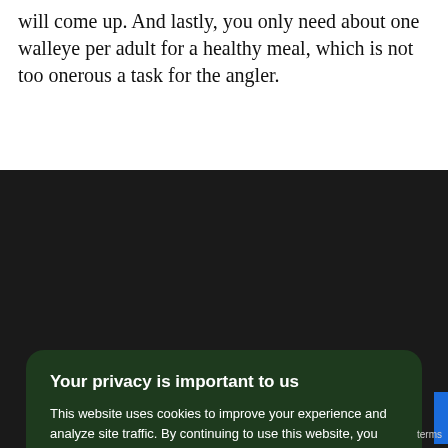will come up. And lastly, you only need about one walleye per adult for a healthy meal, which is not too onerous a task for the angler.
[Figure (screenshot): Cookie consent modal overlay on a dark background image. The modal has a dark green background with rounded corners. Title: 'Your privacy is important to us'. Body text about cookies and Privacy Policy link. Section 'We and our partners process data to:' with bullet list: Provide precise geolocation data, Process device characteristics for identification, Store and/or access information on a device, Gather audience insights. Buttons: 'I Understand' and 'Privacy Policy'.]